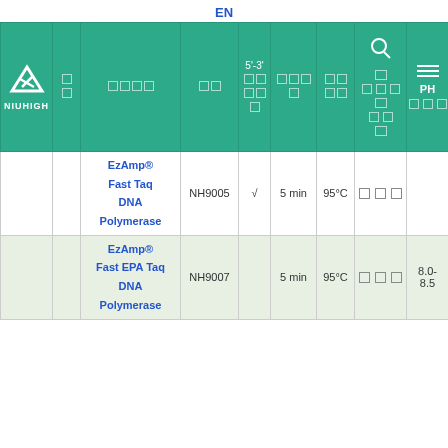EN
| (logo/NIUHIGH) | □□ | □□□□ | □□ | 5'-3' □□□□□ | □□□□ | □□□□ | □ □□□ □ □□ □ | PH □□□ |
| --- | --- | --- | --- | --- | --- | --- | --- | --- |
|  |  | EzAmp® Fast Taq DNA Polymerase | NH9005 | √ | 5 min | 95°C | □ □ □ |  |
|  |  | EzAmp® Fast EPA Taq DNA Polymerase | NH9007 |  | 5 min | 95°C | □ □ □ | 8.0-8.5 |